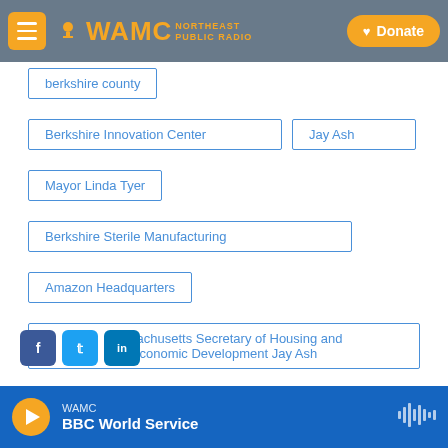WAMC Northeast Public Radio — Donate
berkshire county
Berkshire Innovation Center
Jay Ash
Mayor Linda Tyer
Berkshire Sterile Manufacturing
Amazon Headquarters
Massachusetts Secretary of Housing and Economic Development Jay Ash
WAMC — BBC World Service